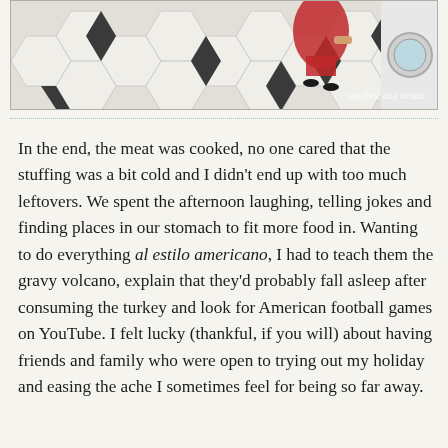[Figure (photo): Photo showing a tiled black and white hexagonal floor with a person in a red dress and black heels partially visible, and what appears to be a washing machine on the right. Watermark reads 'sunshine and siestas'.]
In the end, the meat was cooked, no one cared that the stuffing was a bit cold and I didn't end up with too much leftovers. We spent the afternoon laughing, telling jokes and finding places in our stomach to fit more food in. Wanting to do everything al estilo americano, I had to teach them the gravy volcano, explain that they'd probably fall asleep after consuming the turkey and look for American football games on YouTube. I felt lucky (thankful, if you will) about having friends and family who were open to trying out my holiday and easing the ache I sometimes feel for being so far away.